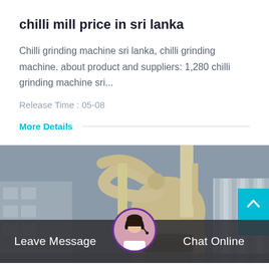chilli mill price in sri lanka
Chilli grinding machine sri lanka, chilli grinding machine. about product and suppliers: 1,280 chilli grinding machine sri...
Release Time : 05-08
More Details
[Figure (photo): Industrial grinding/milling equipment photographed outdoors, showing large cylindrical mill with pipes and ventilation structures against a building background]
Leave Message
Chat Online